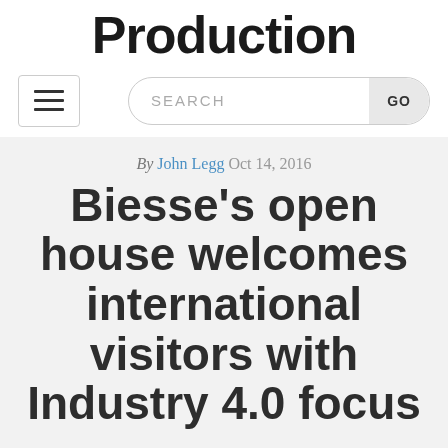Production
[Figure (other): Hamburger menu button and search bar with GO button]
By John Legg Oct 14, 2016
Biesse's open house welcomes international visitors with Industry 4.0 focus
HOME / NEWS / ARTICLES / 2016 / OCTOBER